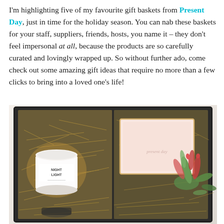I'm highlighting five of my favourite gift baskets from Present Day, just in time for the holiday season. You can nab these baskets for your staff, suppliers, friends, hosts, you name it – they don't feel impersonal at all, because the products are so carefully curated and lovingly wrapped up. So without further ado, come check out some amazing gift ideas that require no more than a few clicks to bring into a loved one's life!
[Figure (photo): A gift basket viewed from above showing a black box filled with straw/hay packing material, a white jar labeled 'Night Light', a pink/blush colored card or book with gold border, and a succulent plant with red-tipped green leaves.]